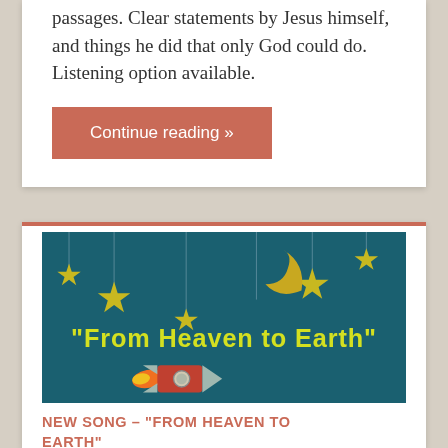passages. Clear statements by Jesus himself, and things he did that only God could do. Listening option available.
Continue reading »
[Figure (illustration): Illustrated image with dark teal background showing stars, a crescent moon hanging from strings, and a cartoon rocket ship with orange flame. Yellow text reads "From Heaven to Earth".]
NEW SONG – "FROM HEAVEN TO EARTH"